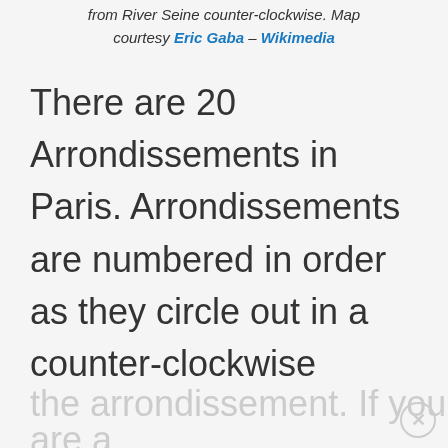from River Seine counter-clockwise. Map courtesy Eric Gaba – Wikimedia
There are 20 Arrondissements in Paris. Arrondissements are numbered in order as they circle out in a counter-clockwise direction from the Seine starting at 1. The closer to the River Seine, the lower the number of
the arrondissement. If you are a